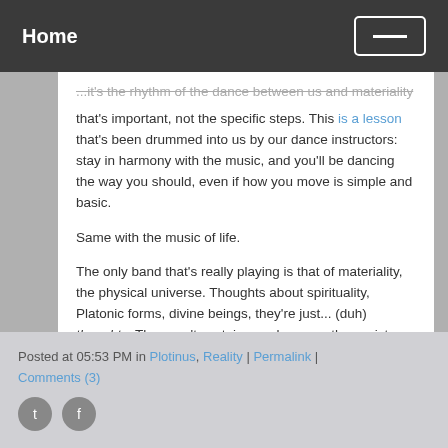Home
...it's the rhythm of the dance between us and materiality that's important, not the specific steps. This is a lesson that's been drummed into us by our dance instructors: stay in harmony with the music, and you'll be dancing the way you should, even if how you move is simple and basic.
Same with the music of life.
The only band that's really playing is that of materiality, the physical universe. Thoughts about spirituality, Platonic forms, divine beings, they're just... (duh) thoughts. They can't sustain you, because they exist only within your own brain.
There's no point to materiality because it simply is. It holds us up because there is nothing else. We trust it because there is no other option for us.
Posted at 05:53 PM in Plotinus, Reality | Permalink | Comments (3)